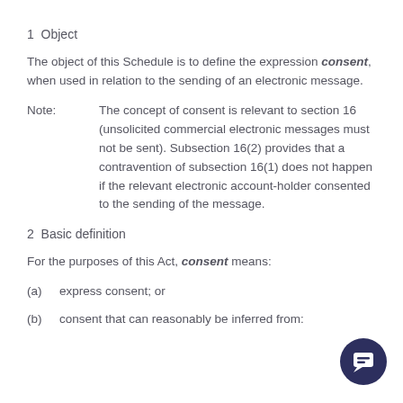1  Object
The object of this Schedule is to define the expression consent, when used in relation to the sending of an electronic message.
Note:        The concept of consent is relevant to section 16 (unsolicited commercial electronic messages must not be sent). Subsection 16(2) provides that a contravention of subsection 16(1) does not happen if the relevant electronic account-holder consented to the sending of the message.
2  Basic definition
For the purposes of this Act, consent means:
(a)  express consent; or
(b)  consent that can reasonably be inferred from: